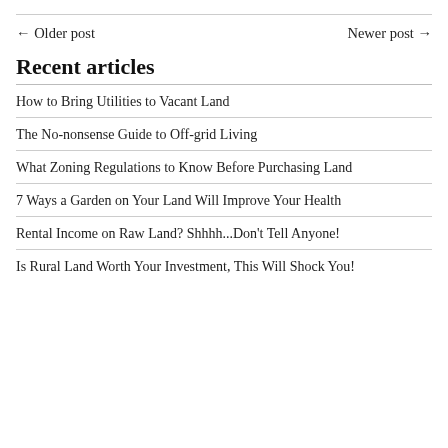← Older post
Newer post →
Recent articles
How to Bring Utilities to Vacant Land
The No-nonsense Guide to Off-grid Living
What Zoning Regulations to Know Before Purchasing Land
7 Ways a Garden on Your Land Will Improve Your Health
Rental Income on Raw Land? Shhhh...Don't Tell Anyone!
Is Rural Land Worth Your Investment, This Will Shock You!